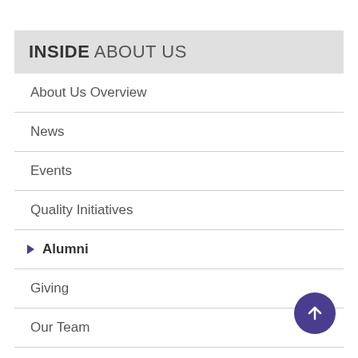INSIDE ABOUT US
About Us Overview
News
Events
Quality Initiatives
Alumni
Giving
Our Team
Awards